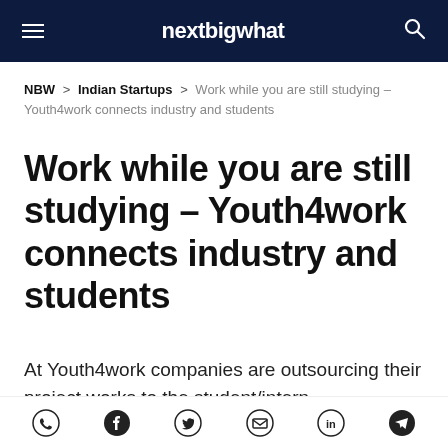nextbigwhat
NBW > Indian Startups > Work while you are still studying – Youth4work connects industry and students
Work while you are still studying – Youth4work connects industry and students
At Youth4work companies are outsourcing their project works to the student/intern
[Figure (other): Social sharing icons: WhatsApp, Facebook, Twitter, Email, LinkedIn, Telegram]